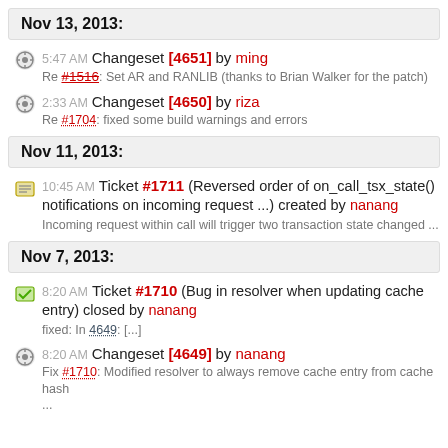Nov 13, 2013:
5:47 AM Changeset [4651] by ming
Re #1516: Set AR and RANLIB (thanks to Brian Walker for the patch)
2:33 AM Changeset [4650] by riza
Re #1704: fixed some build warnings and errors
Nov 11, 2013:
10:45 AM Ticket #1711 (Reversed order of on_call_tsx_state() notifications on incoming request ...) created by nanang
Incoming request within call will trigger two transaction state changed ...
Nov 7, 2013:
8:20 AM Ticket #1710 (Bug in resolver when updating cache entry) closed by nanang
fixed: In 4649: [...]
8:20 AM Changeset [4649] by nanang
Fix #1710: Modified resolver to always remove cache entry from cache hash ...